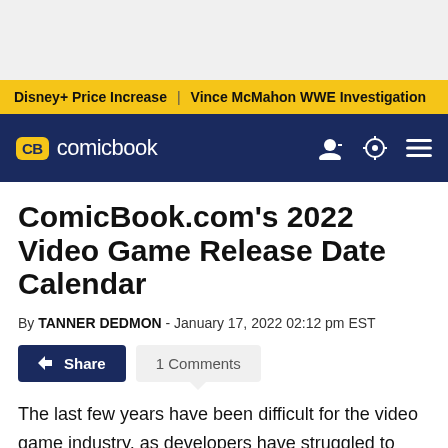Disney+ Price Increase | Vince McMahon WWE Investigation
CB comicbook
ComicBook.com's 2022 Video Game Release Date Calendar
By TANNER DEDMON - January 17, 2022 02:12 pm EST
Share  1 Comments
The last few years have been difficult for the video game industry, as developers have struggled to adapt during the coronavirus pandemic. As a result, a number of major video games were pushed back, and many of them are now slated to release this year! Whether you're a fan of